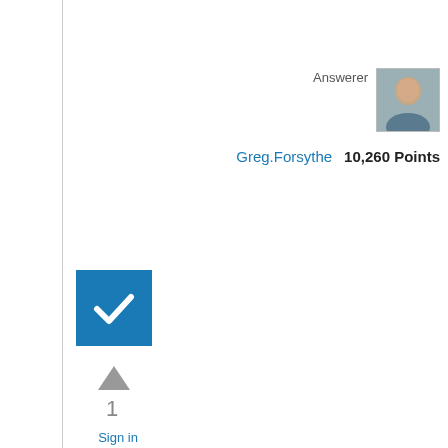Answerer
[Figure (photo): Avatar photo of Greg.Forsythe, a middle-aged man]
Greg.Forsythe   10,260 Points
[Figure (other): Blue checkmark box indicating accepted answer]
[Figure (other): Upvote arrow triangle]
1
Sign in to vote
Hi,
BizTalk Host is a logical containter where you deploy your BizTalk Services such as Orchestration, send and receive and adapter handlers. And BizTalk host instance are in fact the physical container where the services run